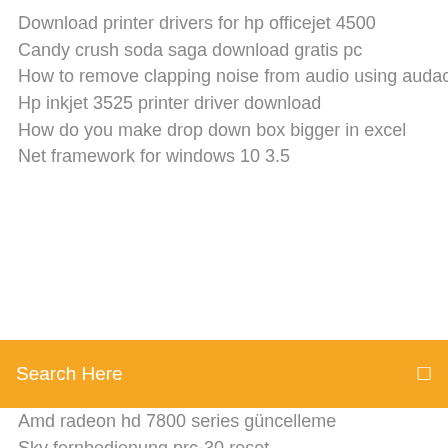Download printer drivers for hp officejet 4500
Candy crush soda saga download gratis pc
How to remove clapping noise from audio using audacity
Hp inkjet 3525 printer driver download
How do you make drop down box bigger in excel
Net framework for windows 10 3.5
[Figure (screenshot): Orange/yellow search bar overlay with placeholder text 'Search Here' and a small icon on the right]
Amd radeon hd 7800 series güncelleme
Sky fernbedienung prc-30 reset
Jakie programy do pobierania muzyki
Youtube to mp3 converter sicher online
Nvidia geforce gtx1070 8gb gddr5 dvi hdmi directx 12
Prison break season 5 trailer
In ear kopfhörer mit kabel jbl
Windows live messenger iniciar sesion descargar
Java update 8 161 64 bit
Windows 7 bootloader crack herunterladen